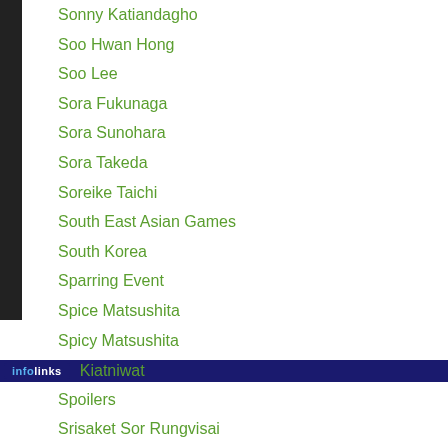Sonny Katiandagho
Soo Hwan Hong
Soo Lee
Sora Fukunaga
Sora Sunohara
Sora Takeda
Soreike Taichi
South East Asian Games
South Korea
Sparring Event
Spice Matsushita
Spicy Matsushita
Split Decision
Spoilers
Srisaket Sor Rungvisai
Kiatniwat
[Figure (screenshot): Advertisement banner for Official NFL Gear with infolinks overlay bar]